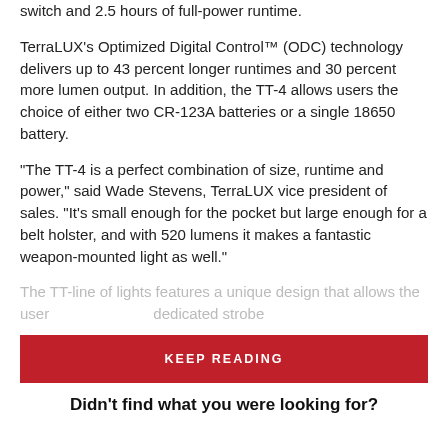switch and 2.5 hours of full-power runtime.
TerraLUX’s Optimized Digital Control™ (ODC) technology delivers up to 43 percent longer runtimes and 30 percent more lumen output. In addition, the TT-4 allows users the choice of either two CR-123A batteries or a single 18650 battery.
“The TT-4 is a perfect combination of size, runtime and power,” said Wade Stevens, TerraLUX vice president of sales. “It’s small enough for the pocket but large enough for a belt holster, and with 520 lumens it makes a fantastic weapon-mounted light as well.”
The TT-line of lights features a unique design that allows the user                        dedicated strobe
KEEP READING
Didn’t find what you were looking for?